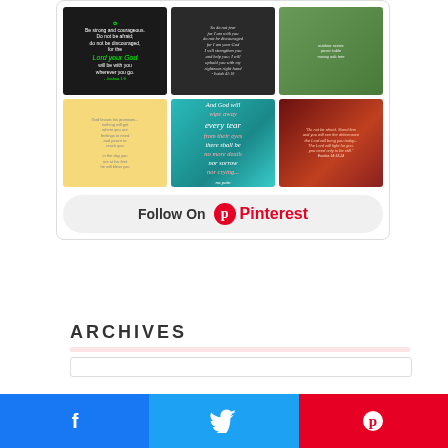[Figure (other): Pinterest widget showing a 3x2 grid of inspirational Bible verse images. Top row: dark chalkboard 'Be strong and courageous, Lord your God' quote, dark chalkboard 'do not fear I am with you' Isaiah quote, outdoor picnic table under mossy tree. Bottom row: yellow background with small text quote, teal bokeh background 'And God will wipe away every tear from their eyes there shall be no more death nor sorrow nor crying... no pain', dark red sunset with 'do not be afraid stand firm' Exodus quote. Below grid: Follow On Pinterest button with Pinterest logo.]
ARCHIVES
[Figure (other): Three social share buttons at bottom: Facebook (blue), Twitter (blue), Pinterest (red)]